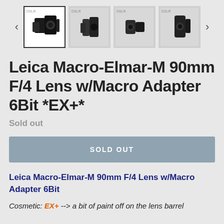[Figure (photo): Thumbnail image gallery row with navigation arrows and four product photos of a Leica Macro-Elmar-M 90mm lens]
Leica Macro-Elmar-M 90mm F/4 Lens w/Macro Adapter 6Bit *EX+*
Sold out
SOLD OUT
Leica Macro-Elmar-M 90mm F/4 Lens w/Macro Adapter 6Bit
Cosmetic: EX+ --> a bit of paint off on the lens barrel